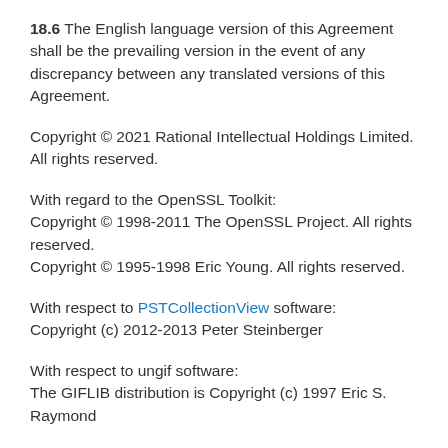18.6 The English language version of this Agreement shall be the prevailing version in the event of any discrepancy between any translated versions of this Agreement.
Copyright © 2021 Rational Intellectual Holdings Limited. All rights reserved.
With regard to the OpenSSL Toolkit:
Copyright © 1998-2011 The OpenSSL Project. All rights reserved.
Copyright © 1995-1998 Eric Young. All rights reserved.
With respect to PSTCollectionView software:
Copyright (c) 2012-2013 Peter Steinberger
With respect to ungif software:
The GIFLIB distribution is Copyright (c) 1997 Eric S. Raymond
TSG can be contacted via Support.